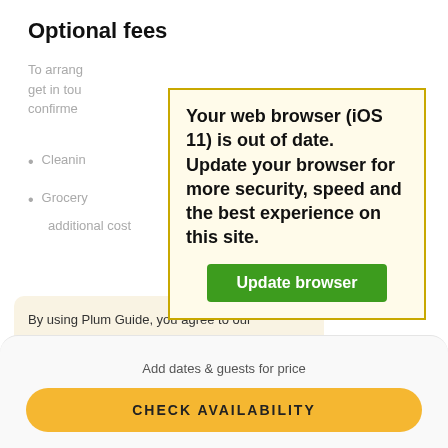Optional fees
To arrange... get in tou... confirmed...
Cleaning...
Grocery... additional cost
[Figure (screenshot): Browser update warning popup with yellow border on cream background. Text reads: 'Your web browser (iOS 11) is out of date. Update your browser for more security, speed and the best experience on this site.' with a green 'Update browser' button.]
By using Plum Guide, you agree to our Cookie Policy.
[Figure (logo): Partial logo visible at bottom left of cookie banner area]
Add dates & guests for price
CHECK AVAILABILITY